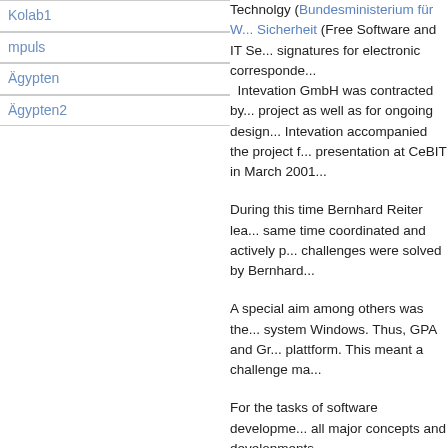Kolab1
mpuls
Ägypten
Ägypten2
Technolgy (Bundesministerium für W... Sicherheit (Free Software and IT Se... signatures for electronic corresponde... Intevation GmbH was contracted by... project as well as for ongoing design... Intevation accompanied the project f... presentation at CeBIT in March 2001...
During this time Bernhard Reiter lea... same time coordinated and actively p... challenges were solved by Bernhard...
A special aim among others was the... system Windows. Thus, GPA and Gr... plattform. This meant a challenge ma...
For the tasks of software developme... all major concepts and developments...
Other project participants have writte... and how to use GnuPG and GPA. Th... Within a subsequent project called G... CD. The package was broadly distrib...